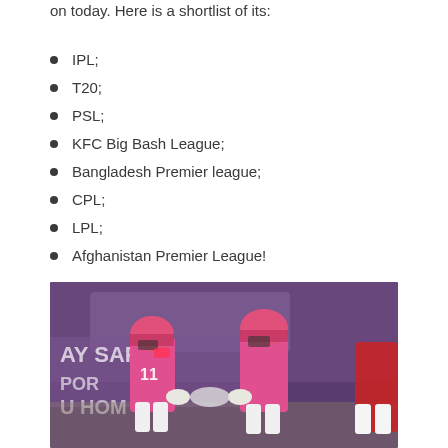on today. Here is a shortlist of its:
IPL;
T20;
PSL;
KFC Big Bash League;
Bangladesh Premier league;
CPL;
LPL;
Afghanistan Premier League!
[Figure (photo): Two cricket players in pink Rajasthan Royals uniforms and pink helmets doing a fist bump on the field, with a purple stadium banner in the background and a red-uniformed player partially visible on the right.]